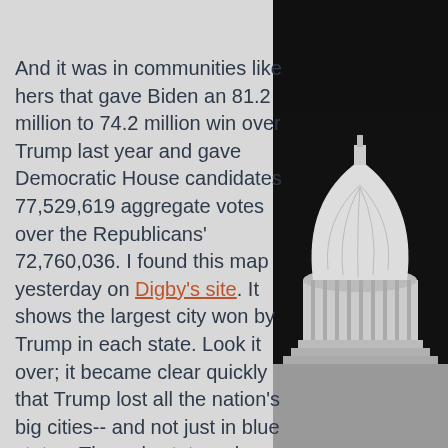And it was in communities like hers that gave Biden an 81.2 million to 74.2 million win over Trump last year and gave Democratic House candidates 77,529,619 aggregate votes over the Republicans' 72,760,036. I found this map yesterday on Digby's site. It shows the largest city won by Trump in each state. Look it over; it became clear quickly that Trump lost all the nation's big cities-- and not just in blue states. The only states where he won the biggest city-- defining "city" loosely-- were Wyoming (Cheyenne- pop. 65,035), Oklahoma (Oklahoma City- pop. 669,347), and Montana (Billings- pop. 117,116). Even in blood red states
[Figure (photo): Black and white photo of the US Capitol building dome on the right side of the page]